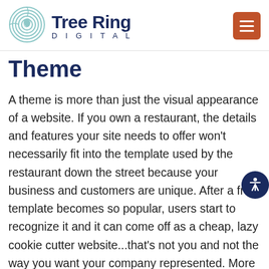[Figure (logo): Tree Ring Digital logo with circular tree-ring icon and text 'Tree Ring DIGITAL' in navy blue, plus a hamburger menu button in burnt orange on the right.]
Theme
A theme is more than just the visual appearance of a website. If you own a restaurant, the details and features your site needs to offer won't necessarily fit into the template used by the restaurant down the street because your business and customers are unique. After a free template becomes so popular, users start to recognize it and it can come off as a cheap, lazy cookie cutter website...that's not you and not the way you want your company represented. More importantly, free themes can have issues with security and functionality. Creating a custom theme requires the time and skill of an experienced developer, but it will be worth it when